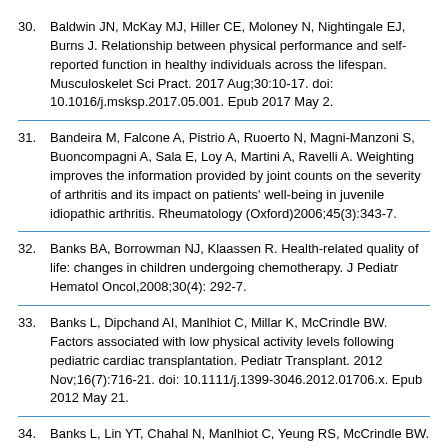30. Baldwin JN, McKay MJ, Hiller CE, Moloney N, Nightingale EJ, Burns J. Relationship between physical performance and self-reported function in healthy individuals across the lifespan. Musculoskelet Sci Pract. 2017 Aug;30:10-17. doi: 10.1016/j.msksp.2017.05.001. Epub 2017 May 2.
31. Bandeira M, Falcone A, Pistrio A, Ruoerto N, Magni-Manzoni S, Buoncompagni A, Sala E, Loy A, Martini A, Ravelli A. Weighting improves the information provided by joint counts on the severity of arthritis and its impact on patients' well-being in juvenile idiopathic arthritis. Rheumatology (Oxford)2006;45(3):343-7.
32. Banks BA, Borrowman NJ, Klaassen R. Health-related quality of life: changes in children undergoing chemotherapy. J Pediatr Hematol Oncol,2008;30(4): 292-7.
33. Banks L, Dipchand AI, Manlhiot C, Millar K, McCrindle BW. Factors associated with low physical activity levels following pediatric cardiac transplantation. Pediatr Transplant. 2012 Nov;16(7):716-21. doi: 10.1111/j.1399-3046.2012.01706.x. Epub 2012 May 21.
34. Banks L, Lin YT, Chahal N, Manlhiot C, Yeung RS, McCrindle BW. Factors associated with low moderate-to-vigorous physical activity levels in pediatric patients with Kawasaki disease. Clin Pediatr (Phila). 2012 Sep;51(9):828-34. doi: 10.1177/0009922812441664. Epub 2012 Apr 20.